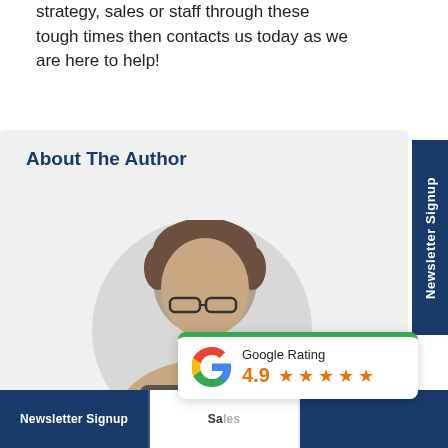strategy, sales or staff through these tough times then contacts us today as we are here to help!
[Figure (photo): About The Author section with a photo of a man with glasses and short hair, shown in a light grey box with a circular grey background behind the portrait.]
[Figure (infographic): Google Rating card showing 4.9 stars with the Google G logo, topped with a green bar, overlapping the author photo.]
Newsletter Signup
Newsletter Signup | Sales
About The Author